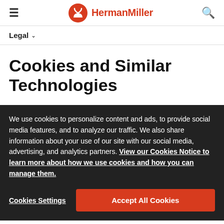HermanMiller
Legal
Cookies and Similar Technologies
We use cookies to personalize content and ads, to provide social media features, and to analyze our traffic. We also share information about your use of our site with our social media, advertising, and analytics partners. View our Cookies Notice to learn more about how we use cookies and how you can manage them.
Cookies Settings | Accept All Cookies